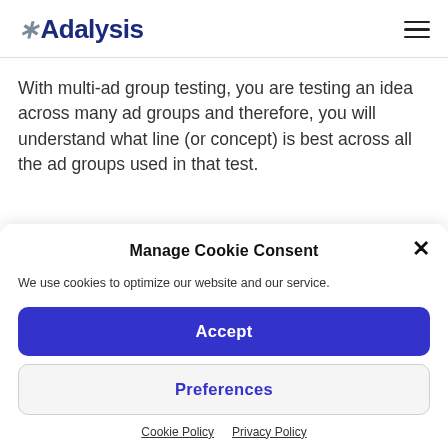Adalysis
With multi-ad group testing, you are testing an idea across many ad groups and therefore, you will understand what line (or concept) is best across all the ad groups used in that test.
Manage Cookie Consent
We use cookies to optimize our website and our service.
Accept
Preferences
Cookie Policy   Privacy Policy